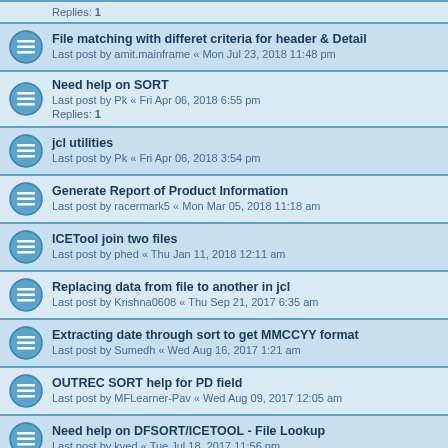Replies: 1
File matching with differet criteria for header & Detail
Last post by amit.mainframe « Mon Jul 23, 2018 11:48 pm
Need help on SORT
Last post by Pk « Fri Apr 06, 2018 6:55 pm
Replies: 1
jcl utilities
Last post by Pk « Fri Apr 06, 2018 3:54 pm
Generate Report of Product Information
Last post by racermark5 « Mon Mar 05, 2018 11:18 am
ICETool join two files
Last post by phed « Thu Jan 11, 2018 12:11 am
Replacing data from file to another in jcl
Last post by Krishna0608 « Thu Sep 21, 2017 6:35 am
Extracting date through sort to get MMCCYY format
Last post by Sumedh « Wed Aug 16, 2017 1:21 am
OUTREC SORT help for PD field
Last post by MFLearner-Pav « Wed Aug 09, 2017 12:05 am
Need help on DFSORT/ICETOOL - File Lookup
Last post by kved « Tue Jul 18, 2017 11:56 pm
New Topic  |  Sort  |  643 topics  | 1  2  3  4  5  ...  23  >